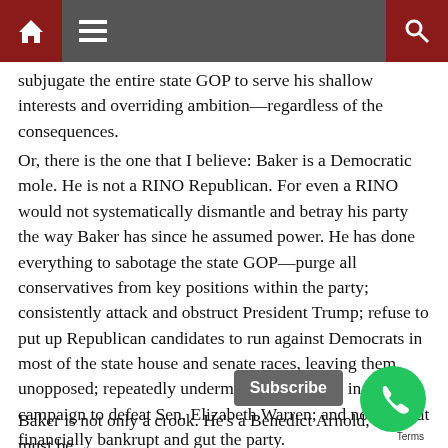[Navigation bar with home, menu, and search icons]
subjugate the entire state GOP to serve his shallow interests and overriding ambition—regardless of the consequences.
Or, there is the one that I believe: Baker is a Democratic mole. He is not a RINO Republican. For even a RINO would not systematically dismantle and betray his party the way Baker has since he assumed power. He has done everything to sabotage the state GOP—purge all conservatives from key positions within the party; consistently attack and obstruct President Trump; refuse to put up Republican candidates to run against Democrats in most of the state house and senate races, leaving them unopposed; repeatedly undermine Geoff Diehl in his campaign to defeat Sen. Elizabeth Warren; and now all but financially bankrupt and gut the party.
Baker is not only a crook. He's a Benedict Arnold, who must be